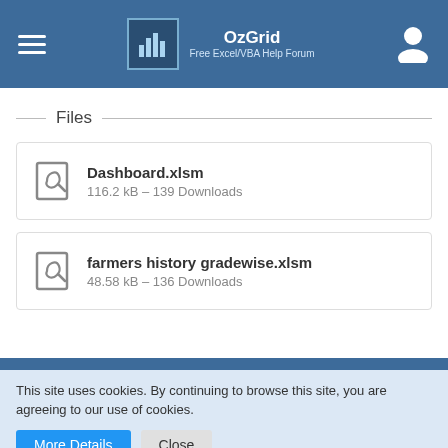OzGrid — Free Excel/VBA Help Forum
Files
Dashboard.xlsm
116.2 kB – 139 Downloads
farmers history gradewise.xlsm
48.58 kB – 136 Downloads
Privacy Policy
This site uses cookies. By continuing to browse this site, you are agreeing to our use of cookies.